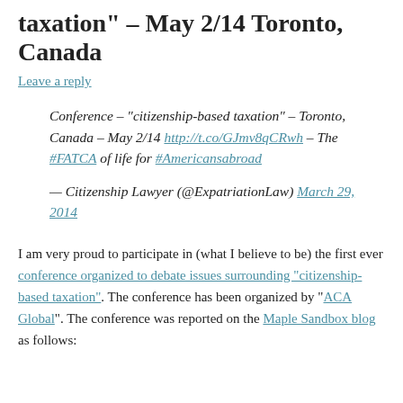taxation" – May 2/14 Toronto, Canada
Leave a reply
Conference – "citizenship-based taxation" – Toronto, Canada – May 2/14 http://t.co/GJmv8qCRwh – The #FATCA of life for #Americansabroad
— Citizenship Lawyer (@ExpatriationLaw) March 29, 2014
I am very proud to participate in (what I believe to be) the first ever conference organized to debate issues surrounding "citizenship-based taxation". The conference has been organized by "ACA Global". The conference was reported on the Maple Sandbox blog as follows: